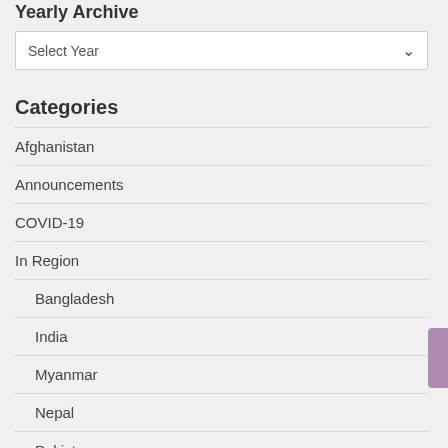Yearly Archive
Select Year
Categories
Afghanistan
Announcements
COVID-19
In Region
Bangladesh
India
Myanmar
Nepal
Pakistan
India Seminar Series